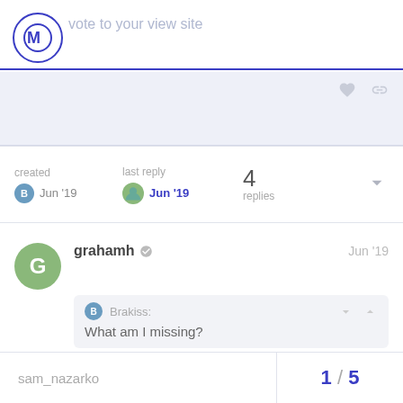M — vote to your view site
created Jun '19   last reply Jun '19   4 replies
grahamh   Jun '19
Brakiss: What am I missing?
Debug logs.
sam_nazarko   1 / 5